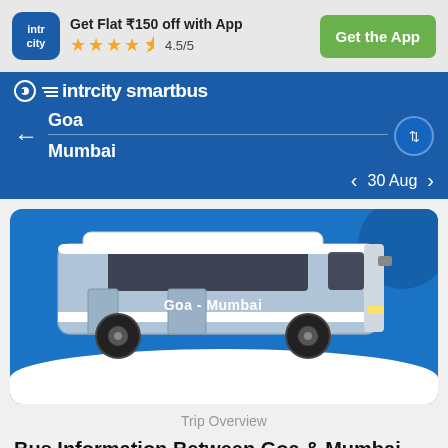[Figure (screenshot): IntrCity app promotional banner with logo, offer text, star rating, and Get the App button]
Get Flat ₹150 off with App
★★★★½ 4.5/5
Get the App
[Figure (logo): IntrCity SmartBus navigation header with Goa to Mumbai route and date 30 Aug]
Goa
Mumbai
30 Aug
[Figure (illustration): Blue and white bus illustration with text Goa - Mumbai on the side, on a blue card background]
Trip Overview
Bus Information Between Goa & Mumbai